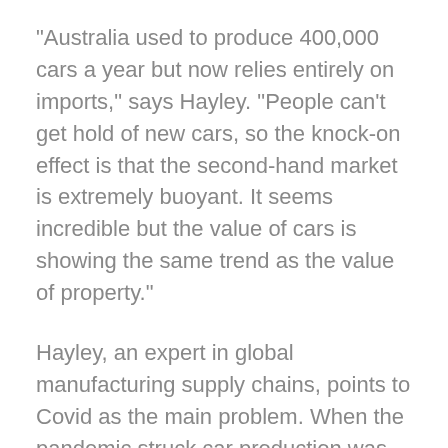“Australia used to produce 400,000 cars a year but now relies entirely on imports,” says Hayley. “People can’t get hold of new cars, so the knock-on effect is that the second-hand market is extremely buoyant. It seems incredible but the value of cars is showing the same trend as the value of property.”
Hayley, an expert in global manufacturing supply chains, points to Covid as the main problem. When the pandemic struck car production was drastically reduced, and orders for the silicon chips that control many elements of a vehicle's performance went the same way.
Car production recovered but the silicon chips orders had already left for